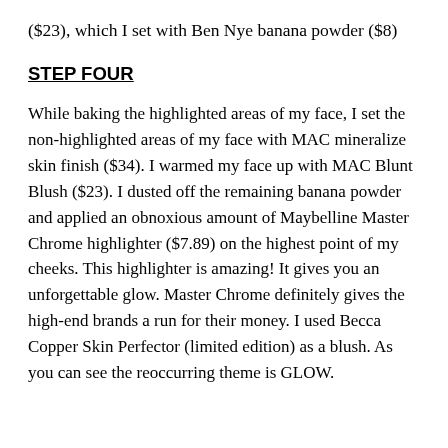($23), which I set with Ben Nye banana powder ($8)
STEP FOUR
While baking the highlighted areas of my face, I set the non-highlighted areas of my face with MAC mineralize skin finish ($34). I warmed my face up with MAC Blunt Blush ($23). I dusted off the remaining banana powder and applied an obnoxious amount of Maybelline Master Chrome highlighter ($7.89) on the highest point of my cheeks. This highlighter is amazing! It gives you an unforgettable glow. Master Chrome definitely gives the high-end brands a run for their money. I used Becca Copper Skin Perfector (limited edition) as a blush. As you can see the reoccurring theme is GLOW.